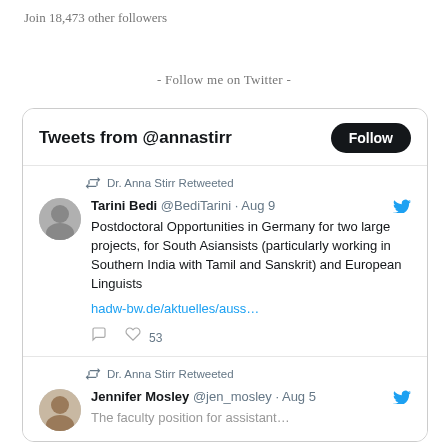Join 18,473 other followers
- Follow me on Twitter -
[Figure (screenshot): Twitter widget showing 'Tweets from @annastirr' with a Follow button. First tweet: Dr. Anna Stirr Retweeted. Tarini Bedi @BediTarini · Aug 9 — Postdoctoral Opportunities in Germany for two large projects, for South Asiansists (particularly working in Southern India with Tamil and Sanskrit) and European Linguists. hadw-bw.de/aktuelles/auss… — 53 likes. Second tweet: Dr. Anna Stirr Retweeted. Jennifer Mosley @jen_mosley · Aug 5 — The faculty position for assistant… (truncated)]